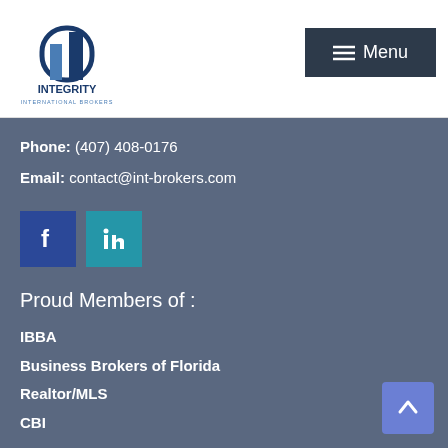[Figure (logo): Integrity International Brokers logo — building icon with company name below]
[Figure (infographic): Menu button dark navy with hamburger icon and text 'Menu']
Phone: (407) 408-0176
Email: contact@int-brokers.com
[Figure (infographic): Facebook icon (blue square) and LinkedIn icon (teal square)]
Proud Members of :
IBBA
Business Brokers of Florida
Realtor/MLS
CBI